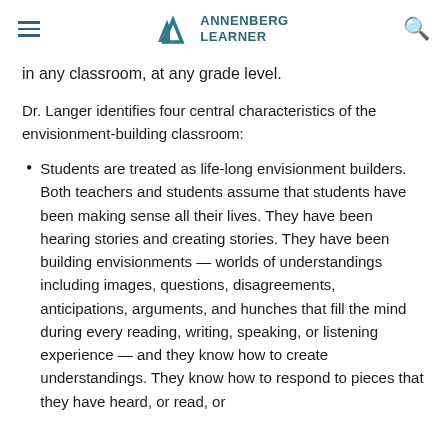Annenberg Learner
in any classroom, at any grade level.
Dr. Langer identifies four central characteristics of the envisionment-building classroom:
Students are treated as life-long envisionment builders. Both teachers and students assume that students have been making sense all their lives. They have been hearing stories and creating stories. They have been building envisionments — worlds of understandings including images, questions, disagreements, anticipations, arguments, and hunches that fill the mind during every reading, writing, speaking, or listening experience — and they know how to create understandings. They know how to respond to pieces that they have heard, or read, or